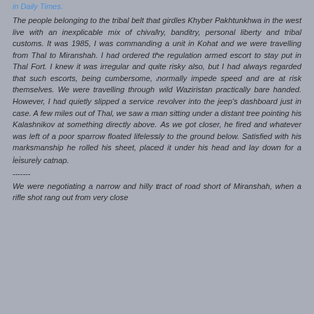in Daily Times.
The people belonging to the tribal belt that girdles Khyber Pakhtunkhwa in the west live with an inexplicable mix of chivalry, banditry, personal liberty and tribal customs. It was 1985, I was commanding a unit in Kohat and we were travelling from Thal to Miranshah. I had ordered the regulation armed escort to stay put in Thal Fort. I knew it was irregular and quite risky also, but I had always regarded that such escorts, being cumbersome, normally impede speed and are at risk themselves. We were travelling through wild Waziristan practically bare handed. However, I had quietly slipped a service revolver into the jeep's dashboard just in case. A few miles out of Thal, we saw a man sitting under a distant tree pointing his Kalashnikov at something directly above. As we got closer, he fired and whatever was left of a poor sparrow floated lifelessly to the ground below. Satisfied with his marksmanship he rolled his sheet, placed it under his head and lay down for a leisurely catnap.
-------
We were negotiating a narrow and hilly tract of road short of Miranshah, when a rifle shot rang out from very close